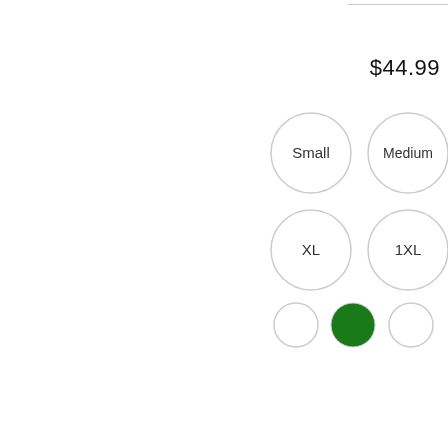$44.99
[Figure (other): Product size selector with circular buttons: Small, Medium (partially visible), XL, 1XL, and a third partially visible. Below are three color swatch circles: white, green (selected), white.]